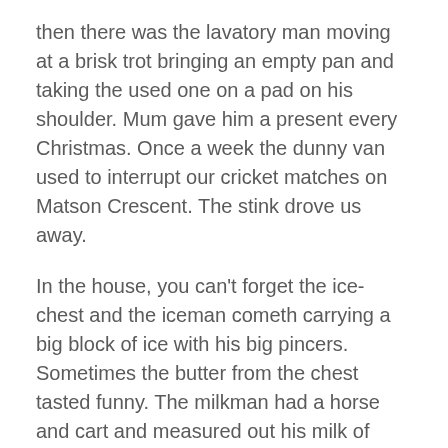then there was the lavatory man moving at a brisk trot bringing an empty pan and taking the used one on a pad on his shoulder. Mum gave him a present every Christmas. Once a week the dunny van used to interrupt our cricket matches on Matson Crescent. The stink drove us away.
In the house, you can't forget the ice-chest and the iceman cometh carrying a big block of ice with his big pincers. Sometimes the butter from the chest tasted funny. The milkman had a horse and cart and measured out his milk of human kindness with a metal container into Mum's milk pail. There was just one kind of milk – straight from the cow. Mum use to heat it and skim the cream off. I loved jam and cream on fresh bread.
The baker visited you as well, with his big basket of